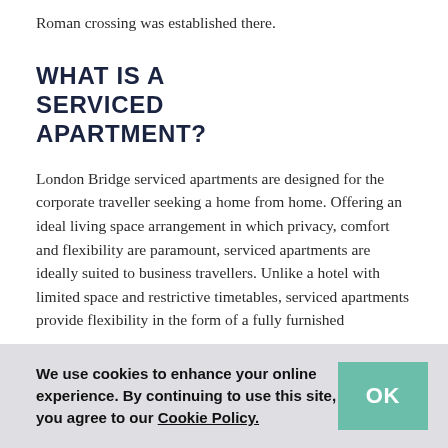Roman crossing was established there.
WHAT IS A SERVICED APARTMENT?
London Bridge serviced apartments are designed for the corporate traveller seeking a home from home. Offering an ideal living space arrangement in which privacy, comfort and flexibility are paramount, serviced apartments are ideally suited to business travellers. Unlike a hotel with limited space and restrictive timetables, serviced apartments provide flexibility in the form of a fully furnished
We use cookies to enhance your online experience. By continuing to use this site, you agree to our Cookie Policy.